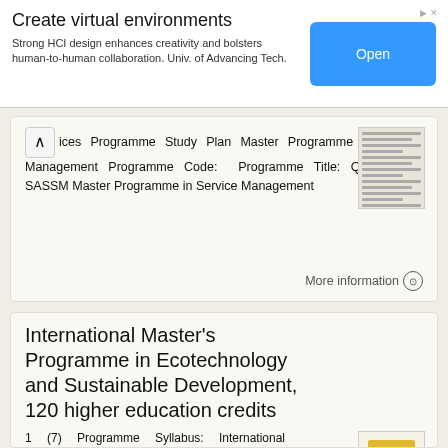Create virtual environments
Strong HCI design enhances creativity and bolsters human-to-human collaboration. Univ. of Advancing Tech.
Open
ices Programme Study Plan Master Programme in Service Management Programme Code: Programme Title: Qualification: SASSM Master Programme in Service Management
More information
International Master's Programme in Ecotechnology and Sustainable Development, 120 higher education credits
1 (7) Programme Syllabus: International Master's Programme in Ecotechnology and Sustainable Development, 120 higher education credits General data Code Cycle Defns NEKAA Second cycle MIUN 2006/1284 Credits